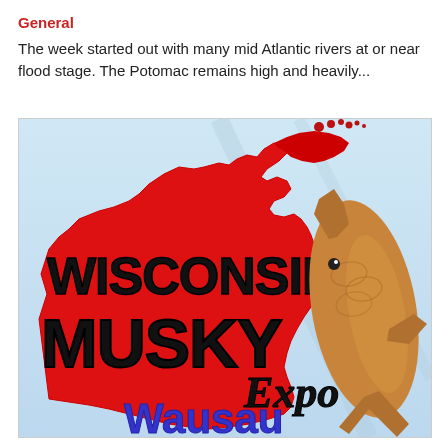General
The week started out with many mid Atlantic rivers at or near flood stage. The Potomac remains high and heavily...
[Figure (logo): Wisconsin Musky Expo Wausau logo — red silhouette of Wisconsin state map with large black bold text 'WISCONSIN MUSKY' and italic 'Expo' text, blue 'Wausau' text at bottom, and a musky fish image on the right side, on a light blue sky background.]